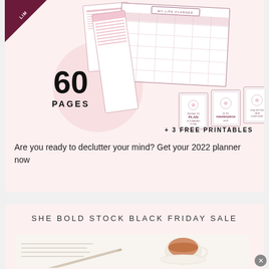[Figure (illustration): My Life Planner product mockup showing planner pages, 60 pages badge, and 3 free printables with rose/mauve design theme]
Are you ready to declutter your mind? Get your 2022 planner now
SHE BOLD STOCK BLACK FRIDAY SALE
[Figure (photo): Flat lay photo showing a cup of tea, notebook and pen on white surface]